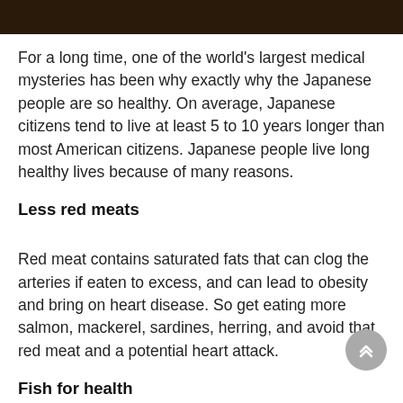[Figure (photo): Dark image strip at the top of the page, showing a partial view of food or a person, very dark/low contrast]
For a long time, one of the world's largest medical mysteries has been why exactly why the Japanese people are so healthy. On average, Japanese citizens tend to live at least 5 to 10 years longer than most American citizens. Japanese people live long healthy lives because of many reasons.
Less red meats
Red meat contains saturated fats that can clog the arteries if eaten to excess, and can lead to obesity and bring on heart disease. So get eating more salmon, mackerel, sardines, herring, and avoid that red meat and a potential heart attack.
Fish for health